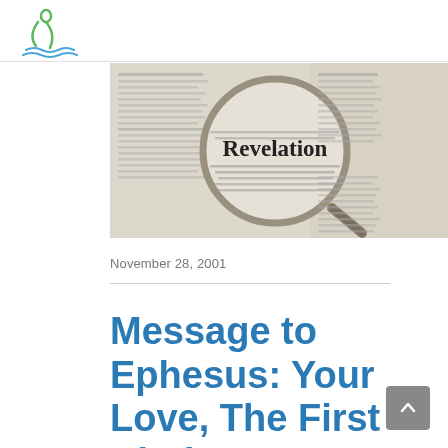[Figure (photo): Open Bible showing the book of Revelation with a magnifying glass highlighting the word 'Revelation']
November 28, 2001
Message to Ephesus: Your Love, The First Kind You've